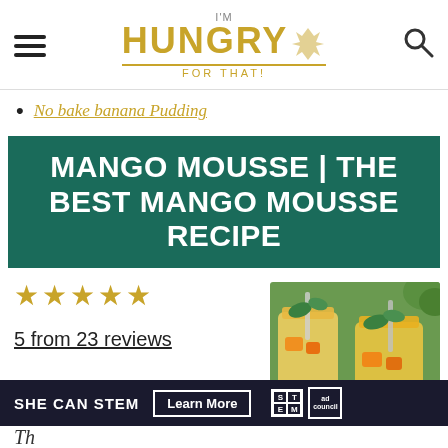I'm HUNGRY FOR THAT! [logo with hamburger menu and search icon]
No bake banana Pudding
MANGO MOUSSE | THE BEST MANGO MOUSSE RECIPE
★★★★★
5 from 23 reviews
[Figure (photo): Two glass jars filled with mango mousse, garnished with mint leaves and mango pieces]
SHE CAN STEM  Learn More  [STEM logo] [Ad Council logo]
Th